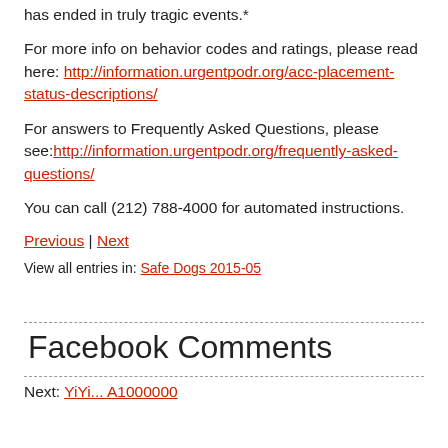has ended in truly tragic events.*
For more info on behavior codes and ratings, please read here: http://information.urgentpodr.org/acc-placement-status-descriptions/
For answers to Frequently Asked Questions, please see:http://information.urgentpodr.org/frequently-asked-questions/
You can call (212) 788-4000 for automated instructions.
Previous | Next
View all entries in: Safe Dogs 2015-05
Facebook Comments
Next: YiYi... A1000000